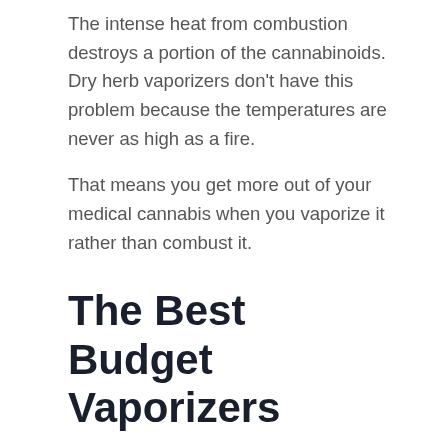The intense heat from combustion destroys a portion of the cannabinoids. Dry herb vaporizers don't have this problem because the temperatures are never as high as a fire.
That means you get more out of your medical cannabis when you vaporize it rather than combust it.
The Best Budget Vaporizers
The only problem with whole flower vaporizers is that they can often be costly. Portable and